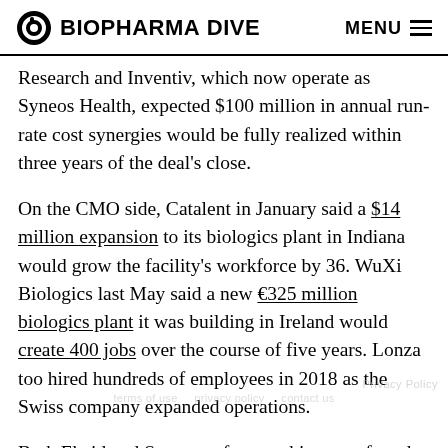BIOPHARMA DIVE  MENU
Research and Inventiv, which now operate as Syneos Health, expected $100 million in annual run-rate cost synergies would be fully realized within three years of the deal's close.
On the CMO side, Catalent in January said a $14 million expansion to its biologics plant in Indiana would grow the facility's workforce by 36. WuXi Biologics last May said a new €325 million biologics plant it was building in Ireland would create 400 jobs over the course of five years. Lonza too hired hundreds of employees in 2018 as the Swiss company expanded operations.
Both Ebeid and Summers foresee this type of work